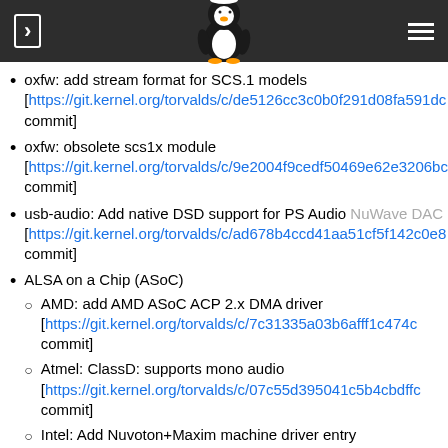Linux kernel changelog navigation header with Tux logo
oxfw: add stream format for SCS.1 models [https://git.kernel.org/torvalds/c/de5126cc3c0b0f291d08fa591d... commit]
oxfw: obsolete scs1x module [https://git.kernel.org/torvalds/c/9e2004f9cedf50469e62e3206b... commit]
usb-audio: Add native DSD support for PS Audio NuWave DAC [https://git.kernel.org/torvalds/c/ad678b4ccd41aa51cf5f142c0e8... commit]
ALSA on a Chip (ASoC)
AMD: add AMD ASoC ACP 2.x DMA driver [https://git.kernel.org/torvalds/c/7c31335a03b6afff1c474c... commit]
Atmel: ClassD: supports mono audio [https://git.kernel.org/torvalds/c/07c55d395041c5b4cbdffc... commit]
Intel: Add Nuvoton+Maxim machine driver entry [https://git.kernel.org/torvalds/c/69b7f9c45856e49929bdd... commit]